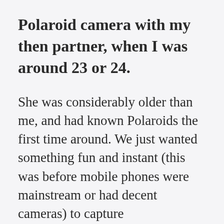Polaroid camera with my then partner, when I was around 23 or 24.
She was considerably older than me, and had known Polaroids the first time around. We just wanted something fun and instant (this was before mobile phones were mainstream or had decent cameras) to capture